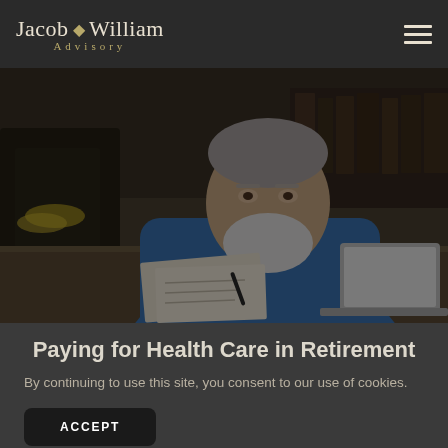Jacob William Advisory
[Figure (photo): Elderly man in blue shirt sitting at a desk, looking down at papers with a laptop in front of him, in a home office setting. Image has a dark overlay.]
Paying for Health Care in Retirement
By continuing to use this site, you consent to our use of cookies.
ACCEPT